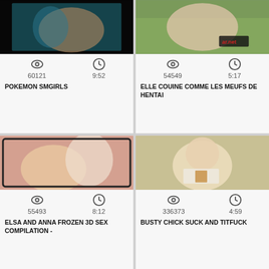[Figure (screenshot): Thumbnail for POKEMON SMGIRLS video - animated cartoon]
60121  9:52
POKEMON SMGIRLS
[Figure (screenshot): Thumbnail for ELLE COUINE COMME LES MEUFS DE HENTAI video - real person outdoors]
54549  5:17
ELLE COUINE COMME LES MEUFS DE HENTAI
[Figure (screenshot): Thumbnail for ELSA AND ANNA FROZEN 3D SEX COMPILATION video - 3D animated]
55493  8:12
ELSA AND ANNA FROZEN 3D SEX COMPILATION -
[Figure (screenshot): Thumbnail for BUSTY CHICK SUCK AND TITFUCK video - anime style]
336373  4:59
BUSTY CHICK SUCK AND TITFUCK